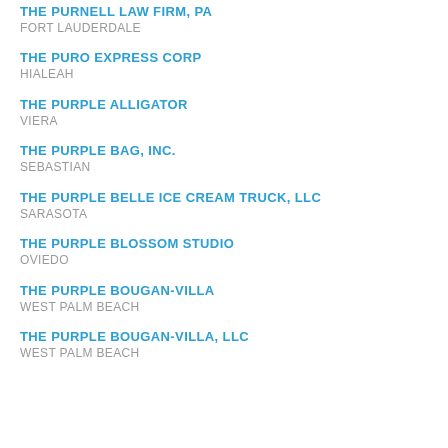THE PURNELL LAW FIRM, PA
FORT LAUDERDALE
THE PURO EXPRESS CORP
HIALEAH
THE PURPLE ALLIGATOR
VIERA
THE PURPLE BAG, INC.
SEBASTIAN
THE PURPLE BELLE ICE CREAM TRUCK, LLC
SARASOTA
THE PURPLE BLOSSOM STUDIO
OVIEDO
THE PURPLE BOUGAN-VILLA
WEST PALM BEACH
THE PURPLE BOUGAN-VILLA, LLC
WEST PALM BEACH